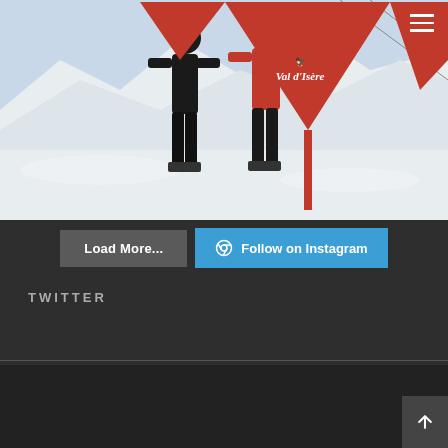[Figure (photo): Two people in ski gear posing in front of a large red triangular Val d'Isère sign on a snowy mountain slope. One person wears black ski gear, the other wears red. Ski lifts and mountain terrain visible in background.]
Load More...
Follow on Instagram
TWITTER
© Copyright Family Affairs and Other Matters